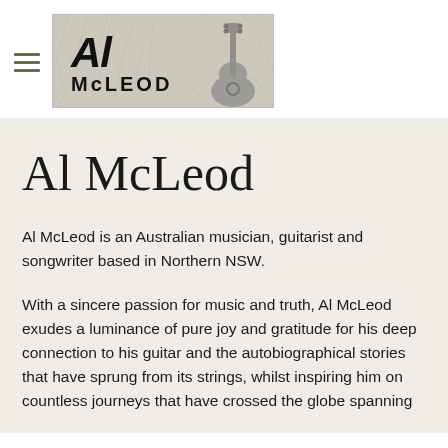Al McLeod - logo header with hamburger menu
Al McLeod
Al McLeod is an Australian musician, guitarist and songwriter based in Northern NSW.
With a sincere passion for music and truth, Al McLeod exudes a luminance of pure joy and gratitude for his deep connection to his guitar and the autobiographical stories that have sprung from its strings, whilst inspiring him on countless journeys that have crossed the globe spanning